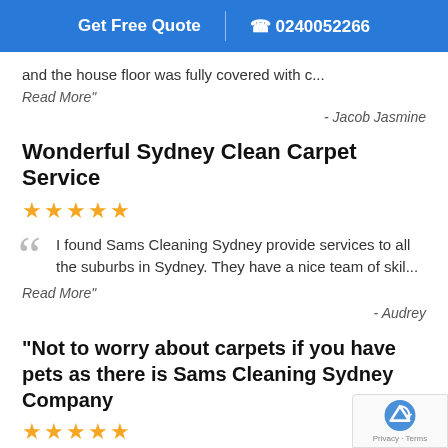Get Free Quote | 0240052266
and the house floor was fully covered with c...
Read More"
- Jacob Jasmine
Wonderful Sydney Clean Carpet Service
[Figure (other): 5 gold stars rating]
I found Sams Cleaning Sydney provide services to all the suburbs in Sydney. They have a nice team of skil...
Read More"
- Audrey
"Not to worry about carpets if you have pets as there is Sams Cleaning Sydney Company
[Figure (other): 5 gold stars rating]